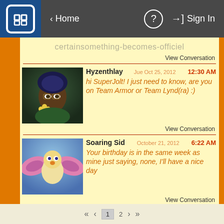Home | ? | Sign In
certainsomething-becomes-officiel
View Conversation
Hyzenthlay — 12:30 AM
hi SuperJolt! I just need to know, are you on Team Armor or Team Lynd(ra) :)
View Conversation
Soaring Sid — 6:22 AM
Your birthday is in the same week as mine just saying, none, I'll have a nice day
View Conversation
7:45 PM
« ‹ 1 2 › »